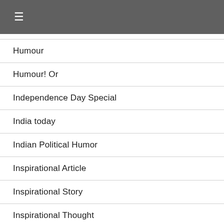≡
Humour
Humour! Or
Independence Day Special
India today
Indian Political Humor
Inspirational Article
Inspirational Story
Inspirational Thought
Inspirational Thoughts